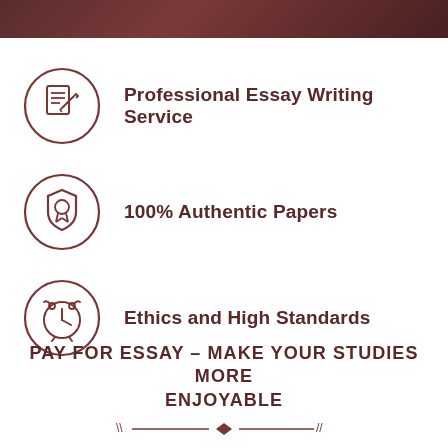[Figure (illustration): Dark brown decorative header bar at top of page]
Professional Essay Writing Service
100% Authentic Papers
Ethics and High Standards
PAY FOR ESSAY – MAKE YOUR STUDIES MORE ENJOYABLE